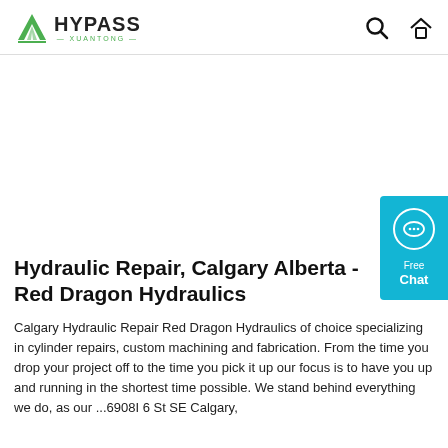HYPASS XUANTONG — header with search and home icons
[Figure (logo): Hypass Xuantong logo with green triangle/mountain icon and bold HYPASS text]
[Figure (infographic): Free Chat widget — cyan/blue rectangle with chat bubble icon, text 'Free Chat']
Hydraulic Repair, Calgary Alberta - Red Dragon Hydraulics
Calgary Hydraulic Repair Red Dragon Hydraulics of choice specializing in cylinder repairs, custom machining and fabrication. From the time you drop your project off to the time you pick it up our focus is to have you up and running in the shortest time possible. We stand behind everything we do, as our ...6908I 6 St SE Calgary,